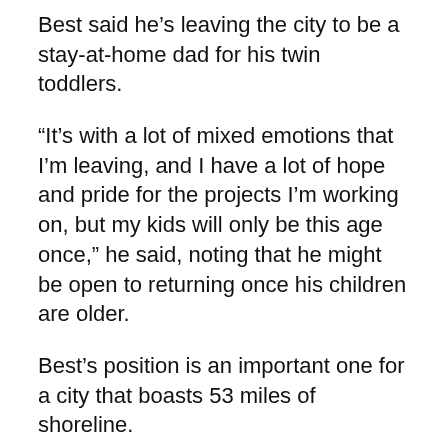Best said he's leaving the city to be a stay-at-home dad for his twin toddlers.
“It’s with a lot of mixed emotions that I’m leaving, and I have a lot of hope and pride for the projects I’m working on, but my kids will only be this age once,” he said, noting that he might be open to returning once his children are older.
Best’s position is an important one for a city that boasts 53 miles of shoreline.
He lead shoreline research, reviewed shoreline permits and was successful in obtaining shoreline restoration grants worth millions of dollars.
As founder and coordinator of the city’s Shoreline Stewardship Program, Best led a corps of volunteers